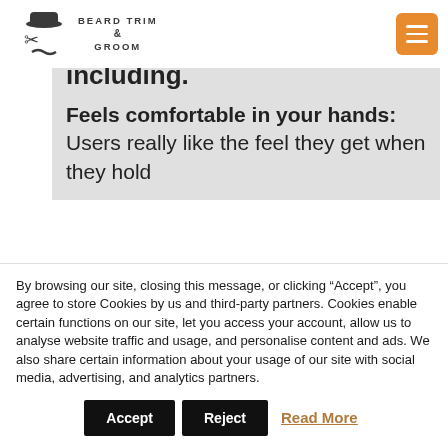BEARD TRIM & GROOM
including.
Feels comfortable in your hands: Users really like the feel they get when they hold
By browsing our site, closing this message, or clicking “Accept”, you agree to store Cookies by us and third-party partners. Cookies enable certain functions on our site, let you access your account, allow us to analyse website traffic and usage, and personalise content and ads. We also share certain information about your usage of our site with social media, advertising, and analytics partners.
Accept   Reject   Read More